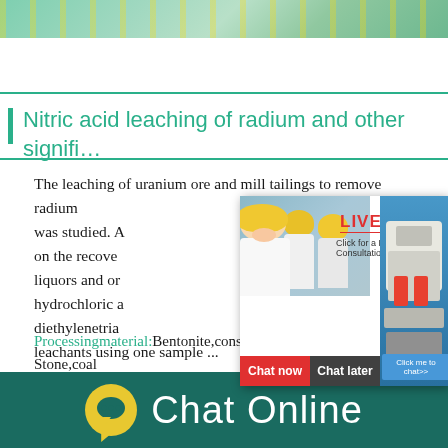[Figure (photo): Top banner image showing industrial/mining facility with green tones]
Nitric acid leaching of radium and other signifi…
The leaching of uranium ore and mill tailings to remove radium was studied. A … to obtain data on the recover… hour online liquors and or… hydrochloric a… diethylenetria… leachants using one sample ...
[Figure (photo): Live chat popup overlay with workers in yellow helmets, LIVE CHAT text in red, Click for a Free Consultation, Chat now and Chat later buttons, and mining machinery image on right side with Click me to chat>> button]
Processingmaterial:Bentonite,construction wa… Stone,coal
[Figure (other): Bottom dark teal bar with yellow chat bubble icon and Chat Online text in white]